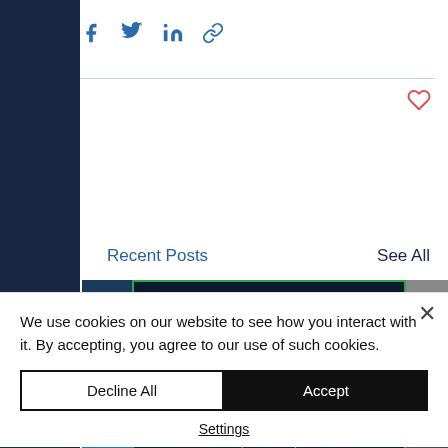[Figure (screenshot): Social share icons row: Facebook, Twitter, LinkedIn, and link icons in blue]
[Figure (screenshot): Heart/like icon in red/salmon color]
Recent Posts
See All
[Figure (photo): Three blog post thumbnail images in a row. Left: dark blue image with number 3. Center: Image with green border showing wireframe human figure with text 'Building digital transformation ready teams'. Right: Partial dark image with letter M.]
We use cookies on our website to see how you interact with it. By accepting, you agree to our use of such cookies.
Decline All
Accept
Settings